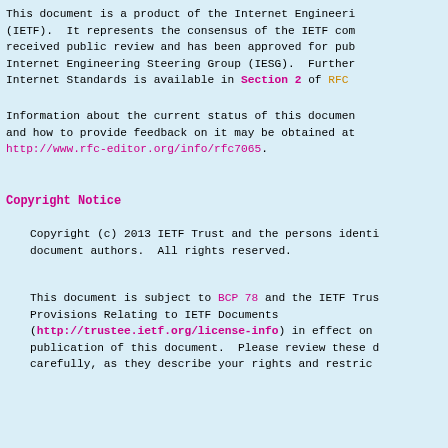This document is a product of the Internet Engineeri (IETF).  It represents the consensus of the IETF com received public review and has been approved for pub Internet Engineering Steering Group (IESG).  Further Internet Standards is available in Section 2 of RFC
Information about the current status of this documen and how to provide feedback on it may be obtained at http://www.rfc-editor.org/info/rfc7065.
Copyright Notice
Copyright (c) 2013 IETF Trust and the persons identi document authors.  All rights reserved.
This document is subject to BCP 78 and the IETF Trus Provisions Relating to IETF Documents (http://trustee.ietf.org/license-info) in effect on publication of this document.  Please review these d carefully, as they describe your rights and restric